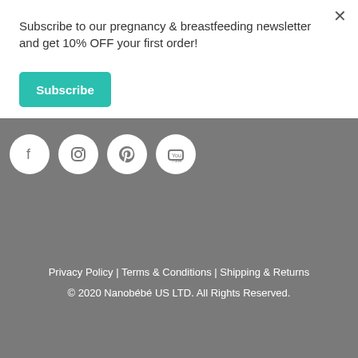Subscribe to our pregnancy & breastfeeding newsletter and get 10% OFF your first order!
Subscribe
[Figure (other): Social media icons: Facebook, Instagram, Pinterest, YouTube — white circles on gray background]
Privacy Policy | Terms & Conditions | Shipping & Returns
© 2020 Nanobébé US LTD. All Rights Reserved.